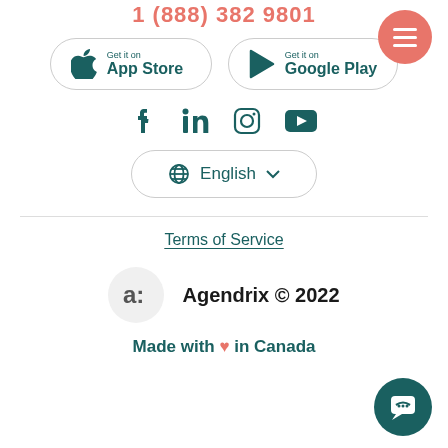1 (888) 382 9801
[Figure (other): App Store and Google Play download buttons side by side, teal border rounded pill style]
[Figure (other): Social media icons row: Facebook, LinkedIn, Instagram, YouTube in teal color]
[Figure (other): Language selector button showing globe icon and 'English' with dropdown chevron]
Terms of Service
[Figure (logo): Agendrix logo circle with stylized 'a:' icon in gray circle]
Agendrix © 2022
Made with ❤ in Canada